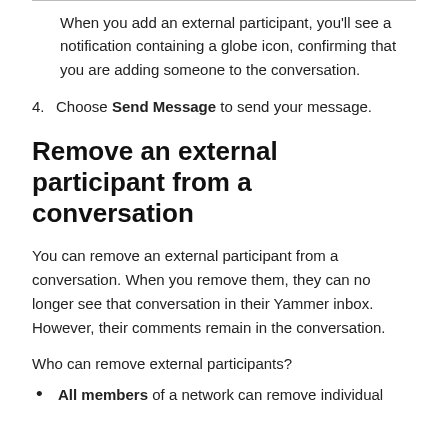When you add an external participant, you'll see a notification containing a globe icon, confirming that you are adding someone to the conversation.
4. Choose Send Message to send your message.
Remove an external participant from a conversation
You can remove an external participant from a conversation. When you remove them, they can no longer see that conversation in their Yammer inbox. However, their comments remain in the conversation.
Who can remove external participants?
All members of a network can remove individual